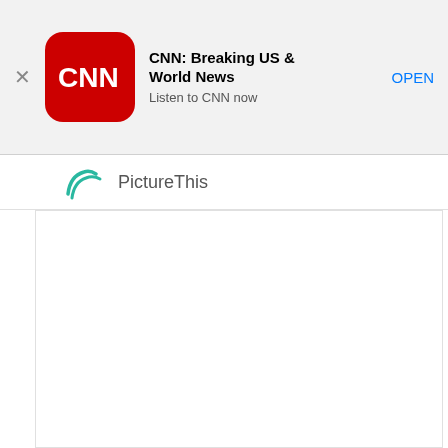[Figure (screenshot): App Store smart banner for CNN: Breaking US & World News app with CNN logo icon, title, subtitle 'Listen to CNN now', and an OPEN button. Below is a partial PictureThis logo and name bar, followed by a white content area.]